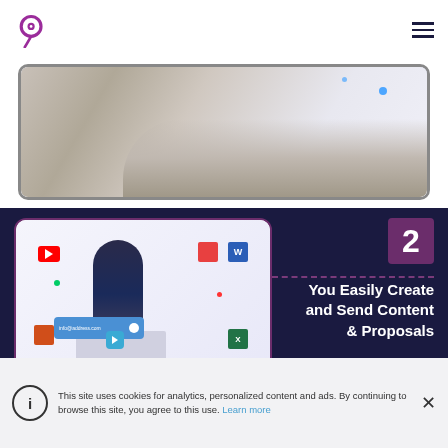[Figure (logo): Circular logo in purple/magenta tones, top left]
[Figure (illustration): Hamburger/menu icon, three horizontal lines, top right]
[Figure (photo): Partial screenshot of two people in a device frame, top section]
[Figure (illustration): Step 2 illustration card showing a woman at laptop surrounded by app icons (YouTube, Word, PDF, Excel, PowerPoint, email popup) on dark navy background]
2
You Easily Create and Send Content & Proposals
This site uses cookies for analytics, personalized content and ads. By continuing to browse this site, you agree to this use. Learn more